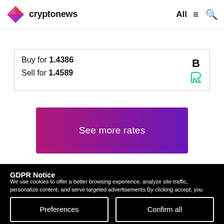cryptonews  All
Buy for 1.4386
Sell for 1.4589
See more rates
GDPR Notice
We use cookies to offer a better browsing experience, analyze site traffic, personalize content, and serve targeted advertisements.By clicking accept, you consent to our privacy policy & use of cookies. (Privacy Policy)
Preferences    Confirm all